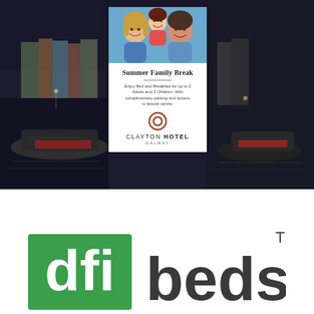[Figure (photo): A hotel marketing image showing a dark harbour scene at night with boats. Overlaid in the centre is a white card featuring a family photo at the top (smiling mother, child, and father), followed by the text 'Summer Family Break', a horizontal rule, descriptive text about the offer, the Clayton Hotel circular logo, and the text 'CLAYTON HOTEL GALWAY'.]
[Figure (logo): DFI Beds logo. 'dfi' appears in white text on a green square background, 'beds' appears in dark charcoal/grey text beside it, with a TM superscript.]